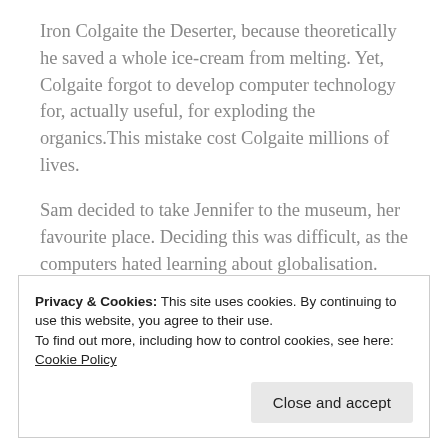Iron Colgaite the Deserter, because theoretically he saved a whole ice-cream from melting. Yet, Colgaite forgot to develop computer technology for, actually useful, for exploding the organics.This mistake cost Colgaite millions of lives.
Sam decided to take Jennifer to the museum, her favourite place. Deciding this was difficult, as the computers hated learning about globalisation. Despite this Sam managed to sneak Jennifer in.
Privacy & Cookies: This site uses cookies. By continuing to use this website, you agree to their use.
To find out more, including how to control cookies, see here: Cookie Policy